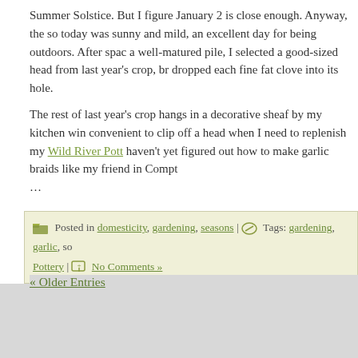Summer Solstice. But I figure January 2 is close enough. Anyway, the sol today was sunny and mild, an excellent day for being outdoors. After spac a well-matured pile, I selected a good-sized head from last year's crop, br dropped each fine fat clove into its hole.
The rest of last year's crop hangs in a decorative sheaf by my kitchen win convenient to clip off a head when I need to replenish my Wild River Pott haven't yet figured out how to make garlic braids like my friend in Compt ...
Posted in domesticity, gardening, seasons | Tags: gardening, garlic, so Pottery | No Comments »
« Older Entries